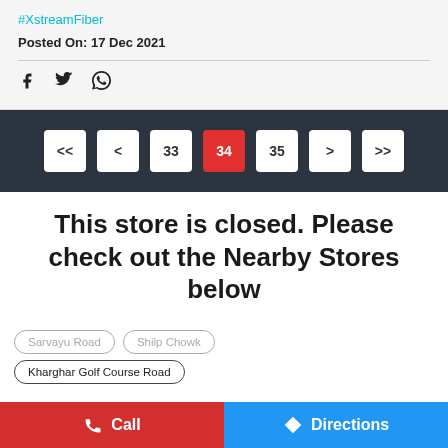#XstreamFiber
Posted On: 17 Dec 2021
Social share icons: Facebook, Twitter, WhatsApp
Pagination: << < 33 34 35 > >>
This store is closed. Please check out the Nearby Stores below
Sarvayu Road  Shilp Chowk  Kharghar Golf Course Road
Call | Directions